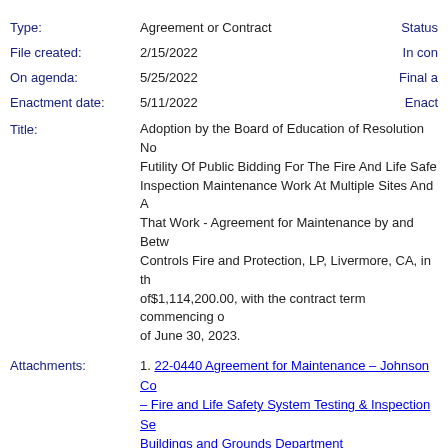Type: Agreement or Contract  Status:
File created: 2/15/2022  In con...
On agenda: 5/25/2022  Final a...
Enactment date: 5/11/2022  Enact...
Title: Adoption by the Board of Education of Resolution No... Futility Of Public Bidding For The Fire And Life Safe... Inspection Maintenance Work At Multiple Sites And A... That Work - Agreement for Maintenance by and Betw... Controls Fire and Protection, LP, Livermore, CA, in th... of$1,114,200.00, with the contract term commencing o... of June 30, 2023.
Attachments: 1. 22-0440 Agreement for Maintenance – Johnson Co... – Fire and Life Safety System Testing & Inspection Se... Buildings and Grounds Department
Contact: marc.white@ousd.org
| Date | Ver. | Action By | Action | Result | Action Details | M |
| --- | --- | --- | --- | --- | --- | --- |